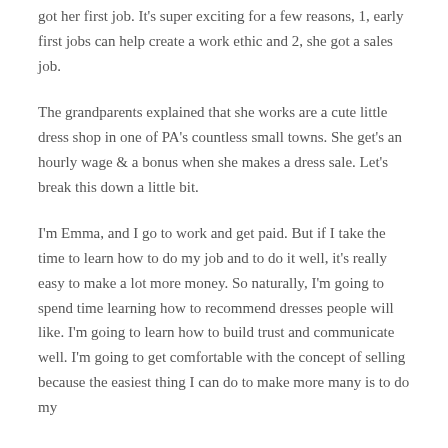got her first job. It's super exciting for a few reasons, 1, early first jobs can help create a work ethic and 2, she got a sales job.
The grandparents explained that she works are a cute little dress shop in one of PA's countless small towns. She get's an hourly wage & a bonus when she makes a dress sale. Let's break this down a little bit.
I'm Emma, and I go to work and get paid. But if I take the time to learn how to do my job and to do it well, it's really easy to make a lot more money. So naturally, I'm going to spend time learning how to recommend dresses people will like. I'm going to learn how to build trust and communicate well. I'm going to get comfortable with the concept of selling because the easiest thing I can do to make more many is to do my